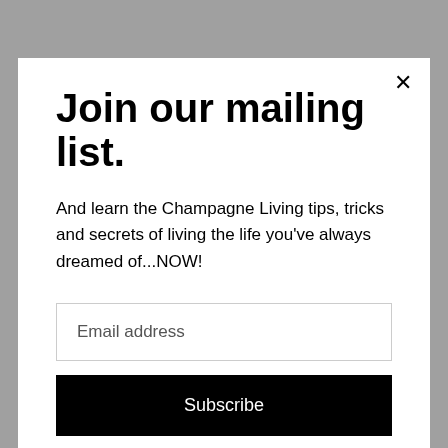Join our mailing list.
And learn the Champagne Living tips, tricks and secrets of living the life you've always dreamed of...NOW!
Email address
Subscribe
processed ingredients – you want to be able to pronounce every ingredient on the back of the